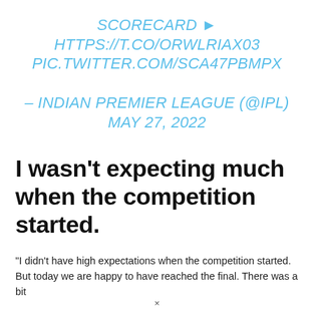SCORECARD ► HTTPS://T.CO/ORWLRIAX03 PIC.TWITTER.COM/SCA47PBMPX
– INDIAN PREMIER LEAGUE (@IPL) MAY 27, 2022
I wasn't expecting much when the competition started.
"I didn't have high expectations when the competition started. But today we are happy to have reached the final. There was a bit
×